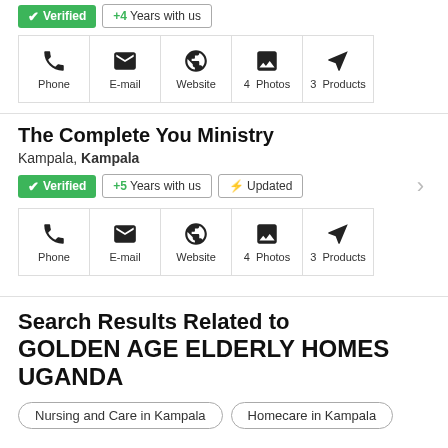[Figure (screenshot): Top strip with Verified badge, +4 Years with us badge, and icon row with Phone, E-mail, Website, 4 Photos, 3 Products]
The Complete You Ministry
Kampala, Kampala
[Figure (screenshot): Verified badge (green), +5 Years with us badge, Updated badge, chevron arrow]
[Figure (screenshot): Icon row with Phone, E-mail, Website, 4 Photos, 3 Products]
Search Results Related to GOLDEN AGE ELDERLY HOMES UGANDA
Nursing and Care in Kampala
Homecare in Kampala